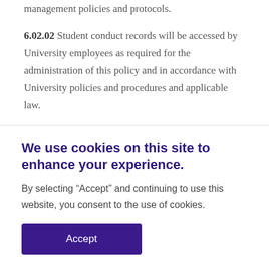management policies and protocols.
6.02.02 Student conduct records will be accessed by University employees as required for the administration of this policy and in accordance with University policies and procedures and applicable law.
6.02.03 A Student affairs administrator...
We use cookies on this site to enhance your experience.
By selecting “Accept” and continuing to use this website, you consent to the use of cookies.